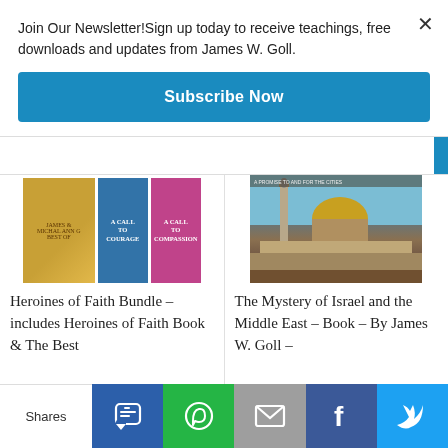Join Our Newsletter!Sign up today to receive teachings, free downloads and updates from James W. Goll.
Subscribe Now
[Figure (photo): Product image: Heroines of Faith Bundle books including gold box set, A Call to Courage and A Call to Compassion]
Heroines of Faith Bundle – includes Heroines of Faith Book & The Best
[Figure (photo): Product image: The Mystery of Israel and the Middle East book cover showing Jerusalem with Dome of the Rock]
The Mystery of Israel and the Middle East – Book – By James W. Goll –
Shares